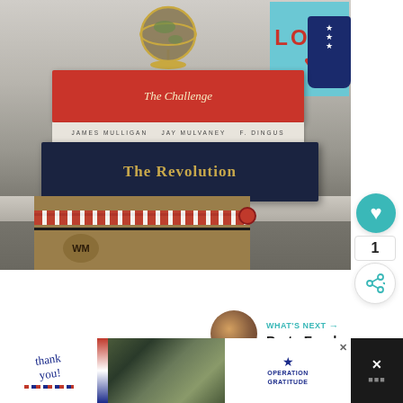[Figure (photo): Patriotic-themed bookshelf display with stack of books (The Challenge on top in red, white book in middle, The Revolution on bottom in navy with gold lettering), a globe, a blue LOVE sign, a navy star-patterned cup, and a burlap bag with red and white striped fabric accent. UI overlay shows heart/like button (teal circle), count of 1, and share button.]
[Figure (photo): Small circular thumbnail of party food scene for 'What's Next' recommendation.]
WHAT'S NEXT →
Party Food
[Figure (photo): Operation Gratitude advertisement banner with 'Thank you!' handwritten text, American flag pencil decoration, military personnel photo, and Operation Gratitude logo with eagle emblem.]